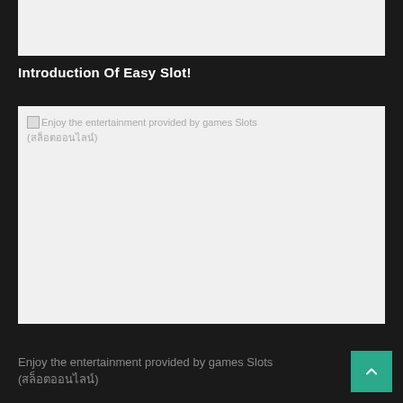[Figure (other): Top image placeholder, light gray background]
Introduction Of Easy Slot!
[Figure (photo): Broken image placeholder with alt text: Enjoy the entertainment provided by games Slots (สล็อตออนไลน์)]
Enjoy the entertainment provided by games Slots (สล็อตออนไลน์)